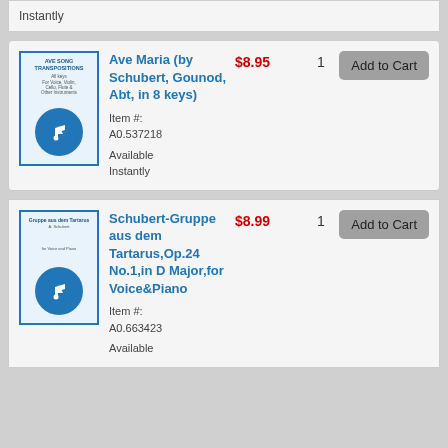Instantly
[Figure (other): Product thumbnail for Ave Maria sheet music with download icon]
Ave Maria (by Schubert, Gounod, Abt, in 8 keys)
$8.95
1
Add to Cart
Item #: A0.537218
Available Instantly
[Figure (other): Product thumbnail for Schubert-Gruppe aus dem Tartarus sheet music with download icon]
Schubert-Gruppe aus dem Tartarus,Op.24 No.1,in D Major,for Voice&Piano
$8.99
1
Add to Cart
Item #: A0.663423
Available